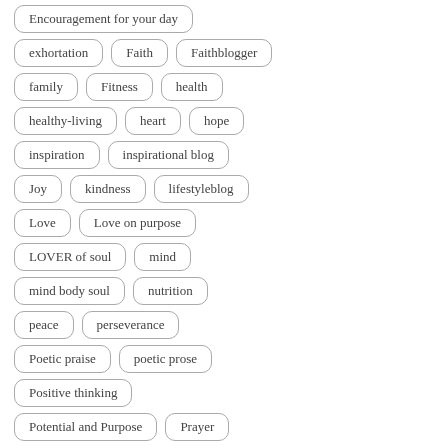Encouragement for your day
exhortation
Faith
Faithblogger
family
Fitness
health
healthy-living
heart
hope
inspiration
inspirational blog
Joy
kindness
lifestyleblog
Love
Love on purpose
LOVER of soul
mind
mind body soul
nutrition
peace
perseverance
Poetic praise
poetic prose
Positive thinking
Potential and Purpose
Prayer